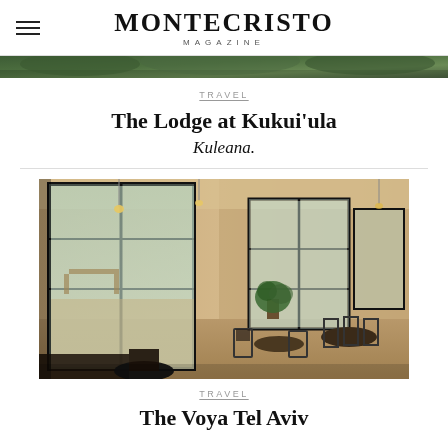MONTECRISTO MAGAZINE
[Figure (photo): Top strip of green foliage/landscape photo, partially visible at top of page]
TRAVEL
The Lodge at Kukuiʻula
Kuleana.
[Figure (photo): Interior of an upscale restaurant with large black-framed glass doors/windows opening to an outdoor terrace, brick walls, pendant lights, wooden chairs and round tables, a potted plant near the center]
TRAVEL
The Voya Tel Aviv